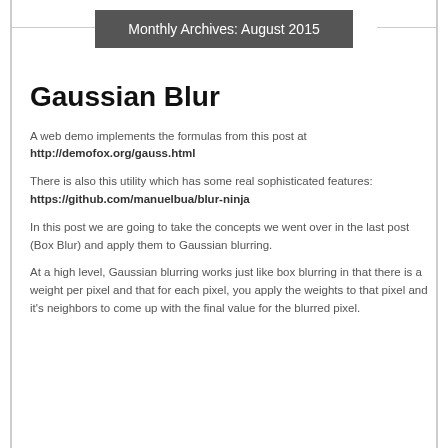Monthly Archives: August 2015
Gaussian Blur
A web demo implements the formulas from this post at http://demofox.org/gauss.html
There is also this utility which has some real sophisticated features: https://github.com/manuelbua/blur-ninja
In this post we are going to take the concepts we went over in the last post (Box Blur) and apply them to Gaussian blurring.
At a high level, Gaussian blurring works just like box blurring in that there is a weight per pixel and that for each pixel, you apply the weights to that pixel and it's neighbors to come up with the final value for the blurred pixel.